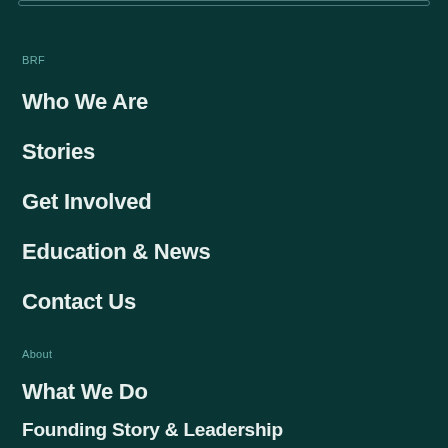BRF
Who We Are
Stories
Get Involved
Education & News
Contact Us
About
What We Do
Founding Story & Leadership
Reports & Financials